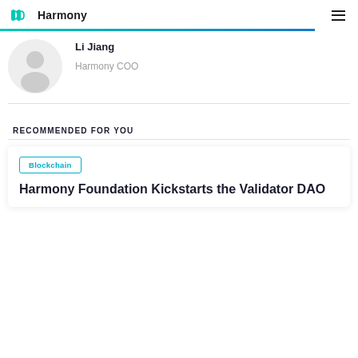Harmony
[Figure (photo): Avatar placeholder silhouette of a person, circular crop, light gray background]
Li Jiang
Harmony COO
RECOMMENDED FOR YOU
Blockchain
Harmony Foundation Kickstarts the Validator DAO